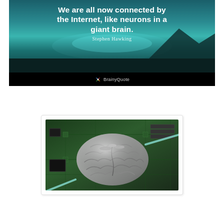[Figure (illustration): BrainyQuote image with Stephen Hawking quote overlaid on a scenic lake and mountain background. Quote text: 'We are all now connected by the Internet, like neurons in a giant brain.' - Stephen Hawking. BrainyQuote logo at bottom.]
[Figure (photo): Photo of a metallic silver brain model sitting on a green circuit board with electronic components, cables, and chips visible. Represents the concept of artificial intelligence or brain-computer interface.]